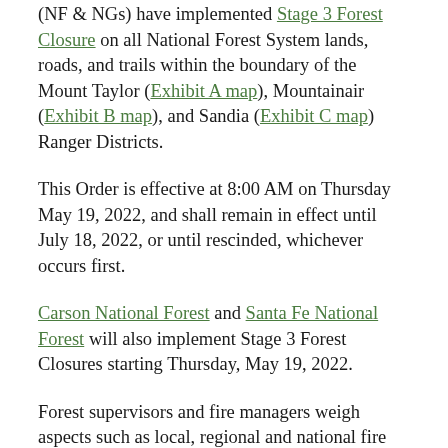(NF & NGs) have implemented Stage 3 Forest Closure on all National Forest System lands, roads, and trails within the boundary of the Mount Taylor (Exhibit A map), Mountainair (Exhibit B map), and Sandia (Exhibit C map) Ranger Districts.
This Order is effective at 8:00 AM on Thursday May 19, 2022, and shall remain in effect until July 18, 2022, or until rescinded, whichever occurs first.
Carson National Forest and Santa Fe National Forest will also implement Stage 3 Forest Closures starting Thursday, May 19, 2022.
Forest supervisors and fire managers weigh aspects such as local, regional and national fire preparedness level, increased fire activity, expected weather conditions, user activities that relate to potential for increased human-caused ignitions, availability of resources and significant